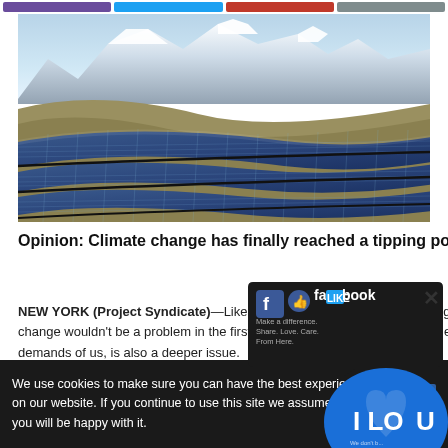[Figure (photo): Aerial view of a large solar panel farm with rows of blue photovoltaic panels curving across hilly terrain with snow-capped mountains in the background.]
Opinion: Climate change has finally reached a tipping point that we can welcome
NEW YORK (Project Syndicate)—Like most worthwhile pursuits, reducing carbon pollution comes with costs. If climate change wouldn't be a problem in the first place, at least not from a narrow economic perspective. Climate change, and what it demands of us, is also a deeper issue.
[Figure (screenshot): Facebook 'Like' social media popup widget with 'I Love' heart sticker overlay. Dark speech bubble with Facebook logo and text 'Make a difference. Share. Love. Care. From Here.' with a large blue heart showing 'I LOU' text partially visible.]
We use cookies to make sure you can have the best experience on our website. If you continue to use this site we assume that you will be happy with it.